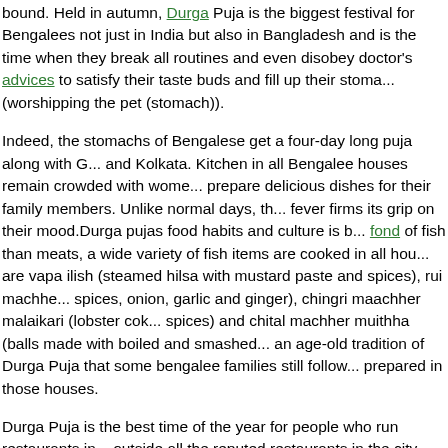bound. Held in autumn, Durga Puja is the biggest festival for Bengalees not just in India but also in Bangladesh and is the time when they break all routines and even disobey doctor's advices to satisfy their taste buds and fill up their stomachs (worshipping the pet (stomach)).
Indeed, the stomachs of Bengalese get a four-day long puja along with Goddess in Dhaka and Kolkata. Kitchen in all Bengalee houses remain crowded with women who prepare delicious dishes for their family members. Unlike normal days, the food fever firms its grip on their mood.Durga pujas food habits and culture is because they are fond of fish than meats, a wide variety of fish items are cooked in all houses. These are vapa ilish (steamed hilsa with mustard paste and spices), rui machher jhol (with spices, onion, garlic and ginger), chingri maachher malaikari (lobster cooked with spices) and chital machher muithha (balls made with boiled and smashed fish). It is an age-old tradition of Durga Puja that some bengalee families still follow that no meat is prepared in those houses.
Durga Puja is the best time of the year for people who run restaurants in Kolkata. Lines outside all the reputed restaurants in the city during the five days of the festival is a food festival that makes a great impact on their balance sheet. No matter where you go will struggle to get a vacant table anywhere. No matter whether it is a Mughlai, Chinese, Indian or multi-cuisine, you will find waiters struggling to satisfy the increasing rush of customers. Some restaurants have even minimized the need of Bengalee...